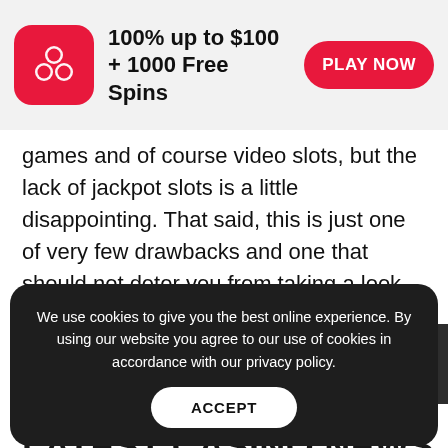[Figure (infographic): Casino promotion banner with cherry slot icon, '100% up to $100 + 1000 Free Spins' text, and a red 'PLAY NOW' button on a light grey background.]
games and of course video slots, but the lack of jackpot slots is a little disappointing. That said, this is just one of very few drawbacks and one that should not deter you from taking a look.
LATEST CASINO NEWS
We use cookies to give you the best online experience. By using our website you agree to our use of cookies in accordance with our privacy policy.
ACCEPT